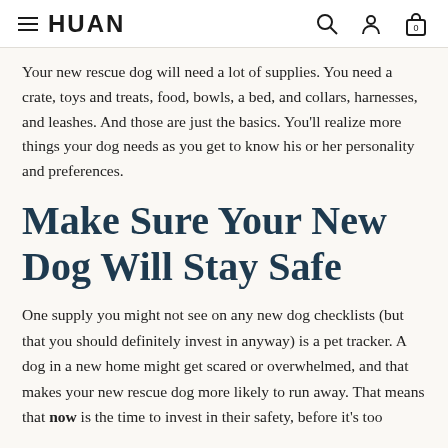HUAN
Your new rescue dog will need a lot of supplies. You need a crate, toys and treats, food, bowls, a bed, and collars, harnesses, and leashes. And those are just the basics. You'll realize more things your dog needs as you get to know his or her personality and preferences.
Make Sure Your New Dog Will Stay Safe
One supply you might not see on any new dog checklists (but that you should definitely invest in anyway) is a pet tracker. A dog in a new home might get scared or overwhelmed, and that makes your new rescue dog more likely to run away. That means that now is the time to invest in their safety, before it's too